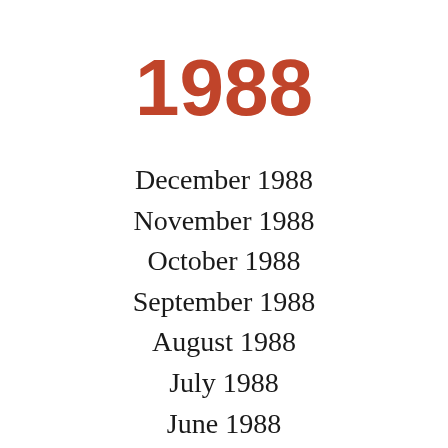1988
December 1988
November 1988
October 1988
September 1988
August 1988
July 1988
June 1988
May 1988
April 1988